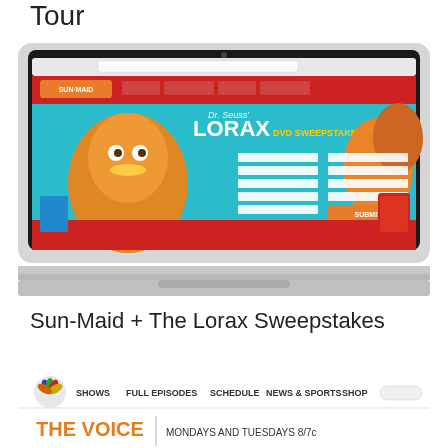Tour
[Figure (screenshot): Screenshot of Sun-Maid + The Lorax DVD Sweepstakes webpage displayed on a MacBook Air laptop. The page shows a teal/blue background with The Lorax character and sweepstakes entry form.]
Sun-Maid + The Lorax Sweepstakes
[Figure (screenshot): Partial screenshot of NBC website showing 'The Voice' show navigation bar with links for Shows, Full Episodes, Schedule, News & Sports, Shop.]